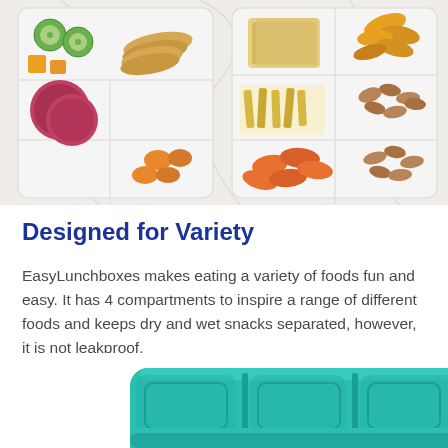[Figure (photo): Overhead view of multiple plastic lunch containers with compartments filled with various snacks including cucumbers, cheese cubes, crackers, salami slices, dried apricots, breadsticks, baby carrots, almonds, and goldfish crackers on a white marble surface.]
Designed for Variety
EasyLunchboxes makes eating a variety of foods fun and easy. It has 4 compartments to inspire a range of different foods and keeps dry and wet snacks separated, however, it is not leakproof.
[Figure (photo): Close-up view of a teal/turquoise colored plastic lunch box container with multiple compartments, showing the top edge and dividers.]